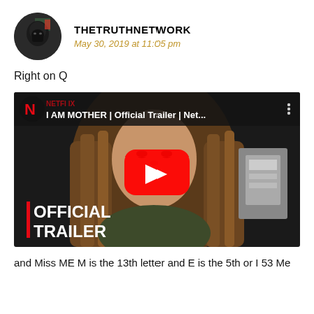[Figure (photo): Circular avatar photo of a person wearing a black hood/mask]
THETRUTHNETWORK
May 30, 2019 at 11:05 pm
Right on Q
[Figure (screenshot): YouTube video thumbnail for 'I AM MOTHER | Official Trailer | Net...' showing a woman with long hair, a YouTube play button in the center, Netflix logo top left, and text OFFICIAL TRAILER at the bottom left]
and Miss ME M is the 13th letter and E is the 5th or I 53 Me